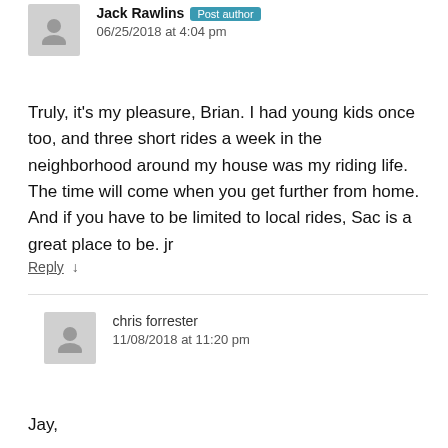Jack Rawlins Post author
06/25/2018 at 4:04 pm
Truly, it's my pleasure, Brian. I had young kids once too, and three short rides a week in the neighborhood around my house was my riding life. The time will come when you get further from home. And if you have to be limited to local rides, Sac is a great place to be. jr
Reply ↓
chris forrester
11/08/2018 at 11:20 pm
Jay,